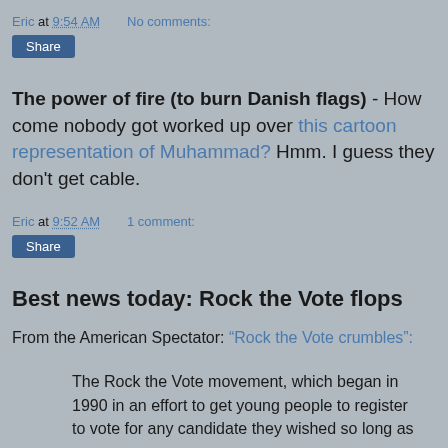Eric at 9:54 AM   No comments:
Share
The power of fire (to burn Danish flags) - How come nobody got worked up over this cartoon representation of Muhammad? Hmm. I guess they don't get cable.
Eric at 9:52 AM   1 comment:
Share
Best news today: Rock the Vote flops
From the American Spectator: “Rock the Vote crumbles”:
The Rock the Vote movement, which began in 1990 in an effort to get young people to register to vote for any candidate they wished so long as